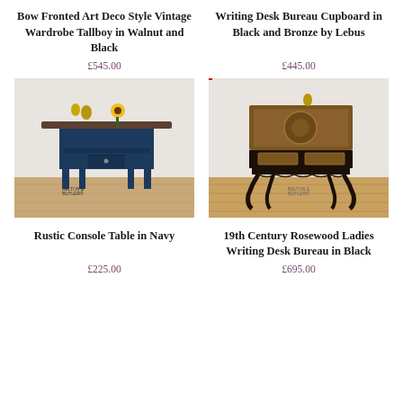Bow Fronted Art Deco Style Vintage Wardrobe Tallboy in Walnut and Black
£545.00
Writing Desk Bureau Cupboard in Black and Bronze by Lebus
£445.00
[Figure (photo): A rustic navy blue console table with turned legs, a shelf, and a single drawer, decorated with a sunflower and small horse figurines on top. Belton & Butler branding visible.]
[Figure (photo): A 19th century rosewood ladies writing desk bureau painted in black with ornate carved legs and decorative inlaid top, with small figurines on top. Belton & Butler branding visible.]
Rustic Console Table in Navy
£225.00
19th Century Rosewood Ladies Writing Desk Bureau in Black
£695.00